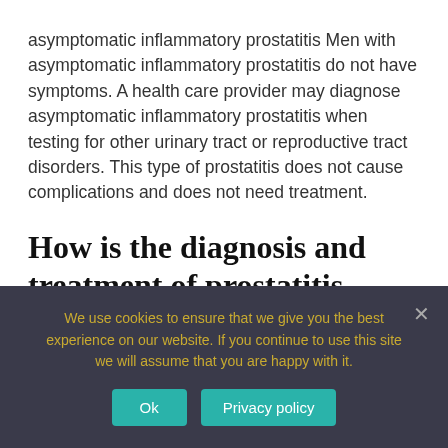asymptomatic inflammatory prostatitis Men with asymptomatic inflammatory prostatitis do not have symptoms. A health care provider may diagnose asymptomatic inflammatory prostatitis when testing for other urinary tract or reproductive tract disorders. This type of prostatitis does not cause complications and does not need treatment.
How is the diagnosis and treatment of prostatitis made?
We use cookies to ensure that we give you the best experience on our website. If you continue to use this site we will assume that you are happy with it.